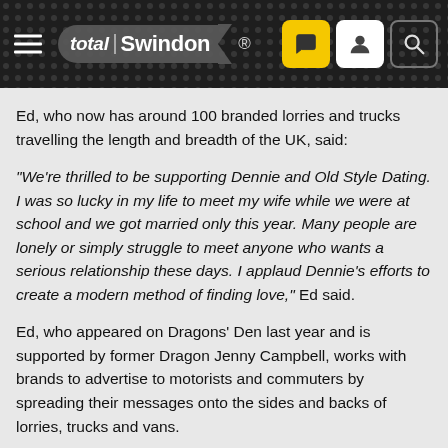total Swindon ®
Ed, who now has around 100 branded lorries and trucks travelling the length and breadth of the UK, said:
“We’re thrilled to be supporting Dennie and Old Style Dating. I was so lucky in my life to meet my wife while we were at school and we got married only this year. Many people are lonely or simply struggle to meet anyone who wants a serious relationship these days. I applaud Dennie’s efforts to create a modern method of finding love,” Ed said.
Ed, who appeared on Dragons’ Den last year and is supported by former Dragon Jenny Campbell, works with brands to advertise to motorists and commuters by spreading their messages onto the sides and backs of lorries, trucks and vans.
In 2018 he walked away with a £30,000 investment in exchange for a 20 percent share in his business. Dennie, who runs a successful hair salon in Selsdon near London, created a respectful online dating website